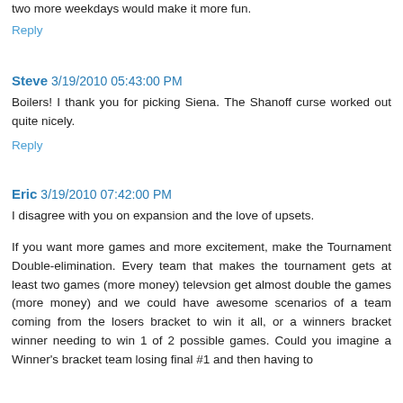two more weekdays would make it more fun.
Reply
Steve  3/19/2010 05:43:00 PM
Boilers! I thank you for picking Siena. The Shanoff curse worked out quite nicely.
Reply
Eric  3/19/2010 07:42:00 PM
I disagree with you on expansion and the love of upsets.
If you want more games and more excitement, make the Tournament Double-elimination. Every team that makes the tournament gets at least two games (more money) televsion get almost double the games (more money) and we could have awesome scenarios of a team coming from the losers bracket to win it all, or a winners bracket winner needing to win 1 of 2 possible games. Could you imagine a Winner's bracket team losing final #1 and then having to